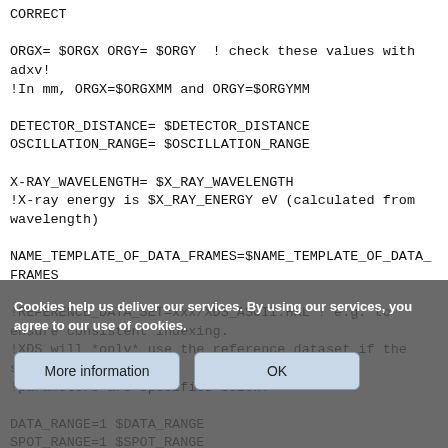CORRECT

ORGX= $ORGX ORGY= $ORGY  ! check these values with adxv!
!In mm, ORGX=$ORGXMM and ORGY=$ORGYMM

DETECTOR_DISTANCE= $DETECTOR_DISTANCE
OSCILLATION_RANGE= $OSCILLATION_RANGE

X-RAY_WAVELENGTH= $X_RAY_WAVELENGTH
!X-ray energy is $X_RAY_ENERGY eV (calculated from wavelength)

NAME_TEMPLATE_OF_DATA_FRAMES=$NAME_TEMPLATE_OF_DATA_FRAMES

!REFERENCE_DATA_SET=xxx/XDS_ASCII.HKL ! e.g. to ensure consistent indexing.
!XDS will *only* use the reference dataset if the space group and cell
!parameters are specified below.

DATA_RANGE=1 $DATA_RANGE
SPOT_RANGE=1 $SPOT_RANGE

!BACKGROUND_RANGE=1 10 !Default is first five degrees.
SPACE_GROUP_NUMBER=0                    ! 0 if unknown
UNIT_CELL_CONSTA...                     ! put correct values if known
Cookies help us deliver our services. By using our services, you agree to our use of cookies.